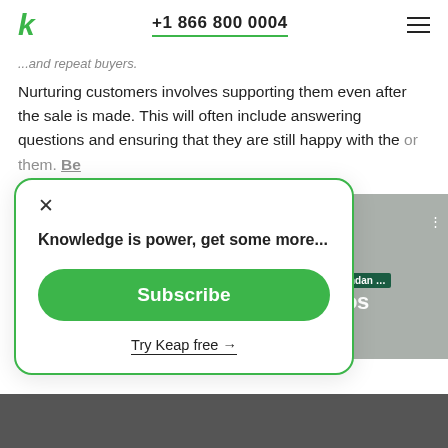Keap logo | +1 866 800 0004 | menu
...and repeat buyers.
Nurturing customers involves supporting them even after the sale is made. This will often include answering questions and ensuring that they are still happy with the [product/service] you chose for them. Be [sure to maintain open communication channels and look for opportunities to up or cross-sell].
× Knowledge is power, get some more...
Subscribe
Try Keap free →